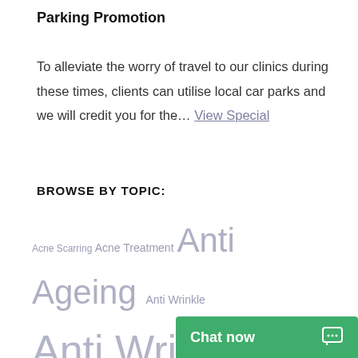Parking Promotion
To alleviate the worry of travel to our clinics during these times, clients can utilise local car parks and we will credit you for the... View Special
BROWSE BY TOPIC:
Acne Scarring Acne Treatment Anti Ageing Anti Wrinkle Anti Wrinkle Injections Anti Wrinkle Treatments Beauty Body Sculpting Clinic News Coolsculpting Dermal Fillers Facial Rejuvenation Fat Freezing Lip Augmentation Lip Injections Skin Care Skin Care Products Skin Rejuvenation Skin Tightening Wrinkle Injections